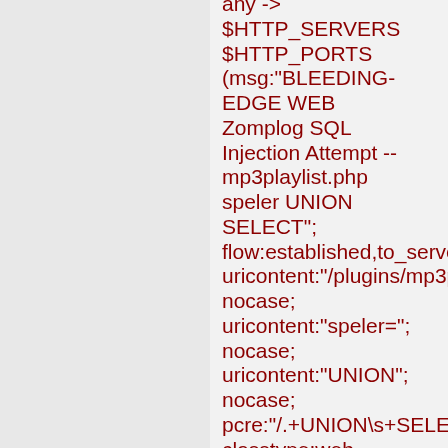any -> $HTTP_SERVERS $HTTP_PORTS (msg:"BLEEDING-EDGE WEB Zomplog SQL Injection Attempt -- mp3playlist.php speler UNION SELECT"; flow:established,to_server; uricontent:"/plugins/mp3p nocase; uricontent:"speler="; nocase; uricontent:"UNION"; nocase; pcre:"/.+UNION\s+SELEC classtype:web-application-attack; reference:cve,CVE-2007-2773; reference:url,www.milw0r